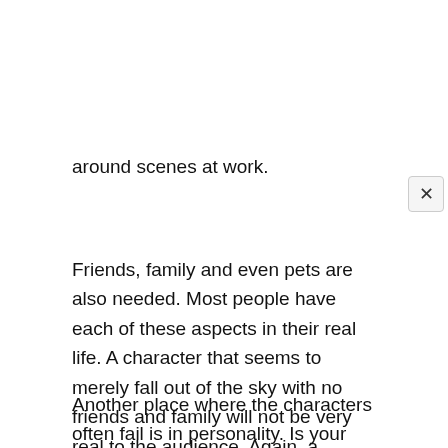around scenes at work.
Friends, family and even pets are also needed. Most people have each of these aspects in their real life. A character that seems to merely fall out of the sky with no friends and family will not be very real to the audience. Again, a character that is not capable of getting an emotional attachment from the audience will likely cause your movie to suffer. Create a few friends, or at least attempt some awkward attempts at friendship. Once again, not all friendships have to be deep bonds, mimicking life is ideal in this situation.
Another place where the characters often fail is in personality. Is your character a clean freak, do they prefer